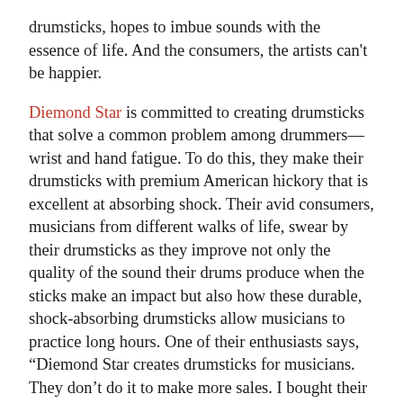drumsticks, hopes to imbue sounds with the essence of life. And the consumers, the artists can't be happier.
Diemond Star is committed to creating drumsticks that solve a common problem among drummers—wrist and hand fatigue. To do this, they make their drumsticks with premium American hickory that is excellent at absorbing shock. Their avid consumers, musicians from different walks of life, swear by their drumsticks as they improve not only the quality of the sound their drums produce when the sticks make an impact but also how these durable, shock-absorbing drumsticks allow musicians to practice long hours. One of their enthusiasts says, “Diemond Star creates drumsticks for musicians. They don’t do it to make more sales. I bought their 6A, and I have to say that it’s been a sheer delight to use them to explore and expand my technique and quality as a drummer.”